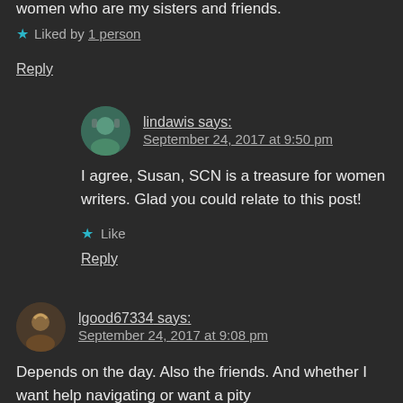women who are my sisters and friends.
★ Liked by 1 person
Reply
lindawis says: September 24, 2017 at 9:50 pm
I agree, Susan, SCN is a treasure for women writers. Glad you could relate to this post!
★ Like
Reply
lgood67334 says: September 24, 2017 at 9:08 pm
Depends on the day. Also the friends. And whether I want help navigating or want a pity